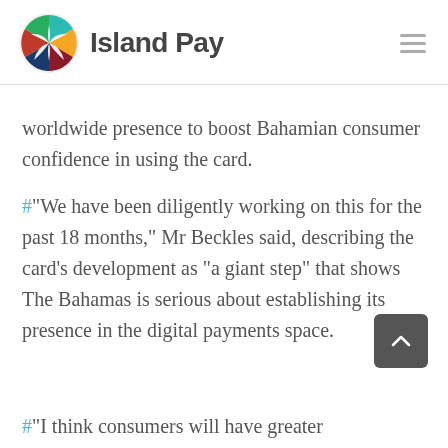[Figure (logo): Island Pay logo — colorful star/pinwheel icon with teal, orange, red, and blue segments, followed by bold 'Island Pay' text in dark gray]
worldwide presence to boost Bahamian consumer confidence in using the card.
#“We have been diligently working on this for the past 18 months,” Mr Beckles said, describing the card’s development as “a giant step” that shows The Bahamas is serious about establishing its presence in the digital payments space.
#“I think consumers will have greater